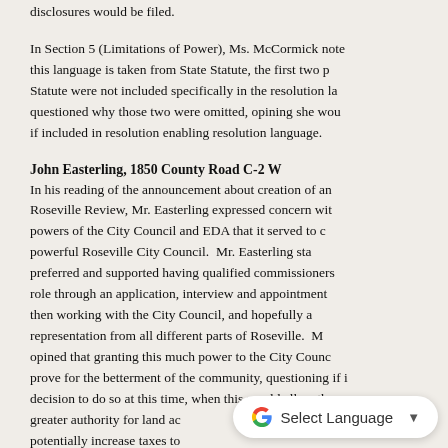disclosures would be filed.
In Section 5 (Limitations of Power), Ms. McCormick noted this language is taken from State Statute, the first two parts of Statute were not included specifically in the resolution language, questioned why those two were omitted, opining she would feel better if included in resolution enabling resolution language.
John Easterling, 1850 County Road C-2 W
In his reading of the announcement about creation of an EDA in the Roseville Review, Mr. Easterling expressed concern with the shared powers of the City Council and EDA that it served to create a very powerful Roseville City Council. Mr. Easterling stated he preferred and supported having qualified commissioners serving in that role through an application, interview and appointment process, and then working with the City Council, and hopefully achieving representation from all different parts of Roseville. Mr. Easterling opined that granting this much power to the City Council may not prove for the betterment of the community, questioning if it was a wise decision to do so at this time, when this would allow the EDA to have greater authority for land acquisition and even clean-up, and potentially increase taxes to...